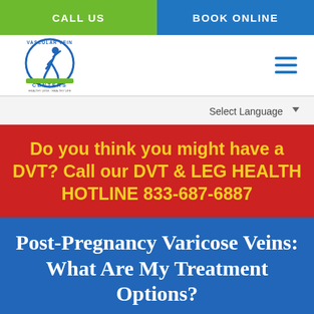CALL US | BOOK ONLINE
[Figure (logo): Vascular Vein Centers logo with running figure and circular badge]
Select Language
Do you think you might have a DVT? Call our DVT & LEG HEALTH HOTLINE 833-687-6887
Post-Pregnancy Varicose Veins: What Are My Treatment Options?